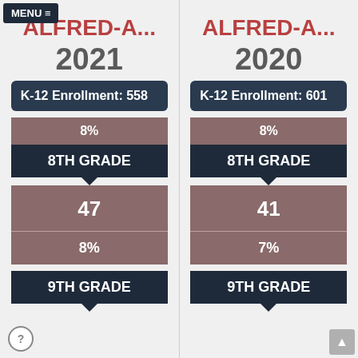MENU ≡
ALFRED-A... 2021
K-12 Enrollment: 558
8%
8TH GRADE
47
8%
9TH GRADE
ALFRED-A... 2020
K-12 Enrollment: 601
8%
8TH GRADE
41
7%
9TH GRADE